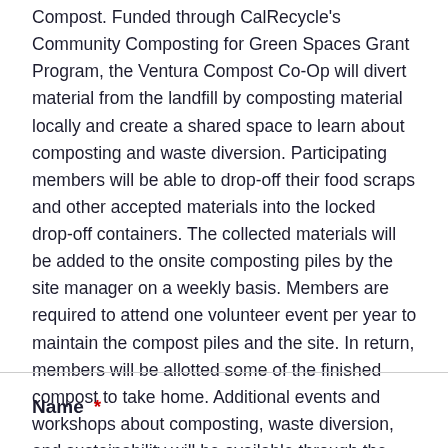Compost. Funded through CalRecycle's Community Composting for Green Spaces Grant Program, the Ventura Compost Co-Op will divert material from the landfill by composting material locally and create a shared space to learn about composting and waste diversion. Participating members will be able to drop-off their food scraps and other accepted materials into the locked drop-off containers. The collected materials will be added to the onsite composting piles by the site manager on a weekly basis. Members are required to attend one volunteer event per year to maintain the compost piles and the site. In return, members will be allotted some of the finished compost to take home. Additional events and workshops about composting, waste diversion, and sustainability will be available through the Ventura Compost Co-Op for members as well as the community.
Name *